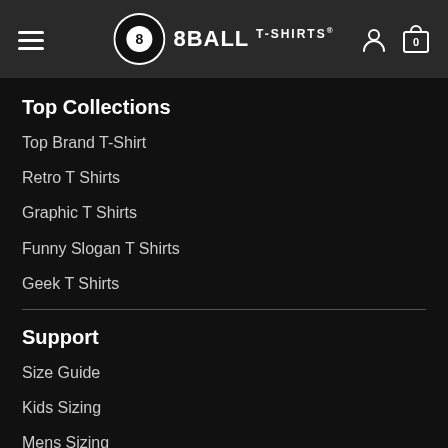8BALL T-SHIRTS
Top Collections
Top Brand T-Shirt
Retro T Shirts
Graphic T Shirts
Funny Slogan T Shirts
Geek T Shirts
Support
Size Guide
Kids Sizing
Mens Sizing